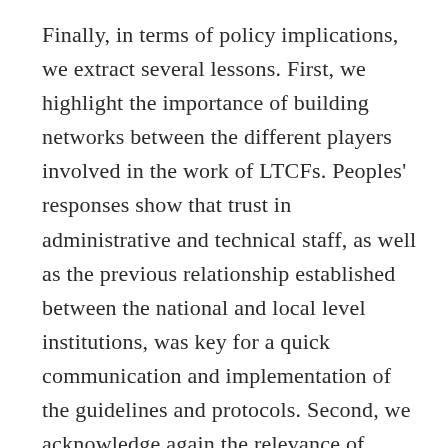Finally, in terms of policy implications, we extract several lessons. First, we highlight the importance of building networks between the different players involved in the work of LTCFs. Peoples' responses show that trust in administrative and technical staff, as well as the previous relationship established between the national and local level institutions, was key for a quick communication and implementation of the guidelines and protocols. Second, we acknowledge again the relevance of designing interventions not only technically correct but also feasible to implement for the intended target population (e.g., resources available and infrastructure requirements). Also, from a psychological perspective, understanding people's resistance to change and their limits in terms of